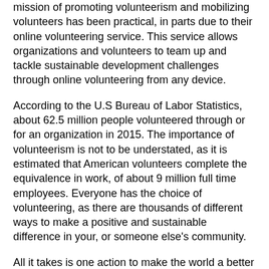mission of promoting volunteerism and mobilizing volunteers has been practical, in parts due to their online volunteering service. This service allows organizations and volunteers to team up and tackle sustainable development challenges through online volunteering from any device.
According to the U.S Bureau of Labor Statistics, about 62.5 million people volunteered through or for an organization in 2015. The importance of volunteerism is not to be understated, as it is estimated that American volunteers complete the equivalence in work, of about 9 million full time employees. Everyone has the choice of volunteering, as there are thousands of different ways to make a positive and sustainable difference in your, or someone else's community.
All it takes is one action to make the world a better place for everyone to share. Whether you donate your time at a youth center, volunteer to be a tutor, or even provide disaster relief for those in need, your efforts help change lives for the better on a daily basis. Public service and volunteer opportunities are available through numerous federal organizations such as the